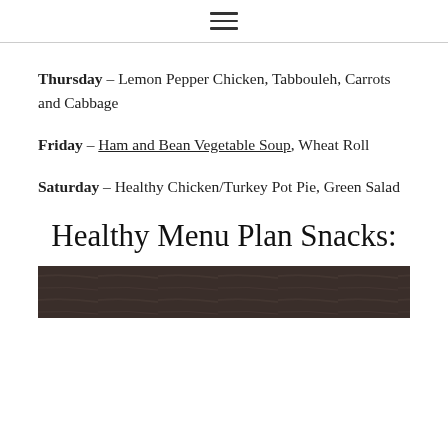≡
Thursday – Lemon Pepper Chicken, Tabbouleh, Carrots and Cabbage
Friday – Ham and Bean Vegetable Soup, Wheat Roll
Saturday – Healthy Chicken/Turkey Pot Pie, Green Salad
Healthy Menu Plan Snacks:
[Figure (photo): Dark brown food photograph, partially visible at bottom of page]